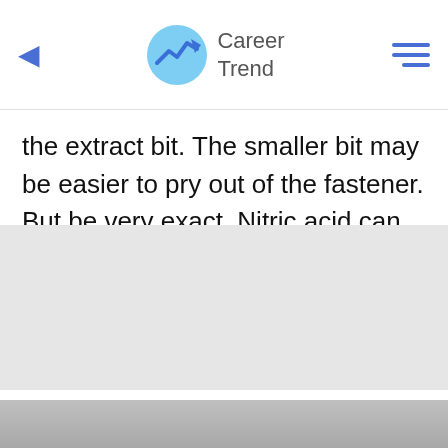Career Trend
the extract bit. The smaller bit may be easier to pry out of the fastener. But be very exact. Nitric acid can damage other metals, such as fasteners and sheet metal